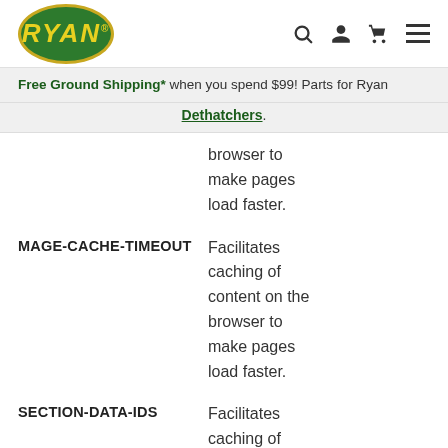RYAN logo with navigation icons (search, user, cart, menu)
Free Ground Shipping* when you spend $99! Parts for Ryan Dethatchers.
browser to make pages load faster.
MAGE-CACHE-TIMEOUT
Facilitates caching of content on the browser to make pages load faster.
SECTION-DATA-IDS
Facilitates caching of